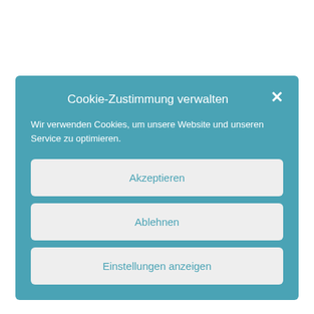Cookie-Zustimmung verwalten
Wir verwenden Cookies, um unsere Website und unseren Service zu optimieren.
Akzeptieren
Ablehnen
Einstellungen anzeigen